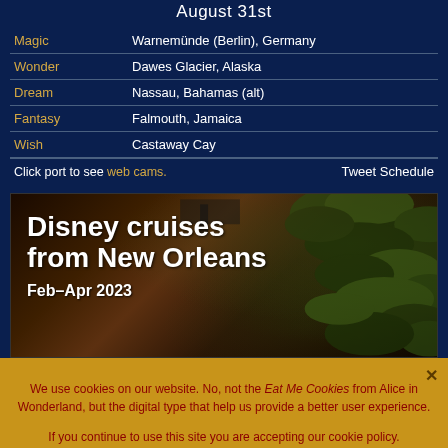August 31st
| Ship | Port |
| --- | --- |
| Magic | Warnemünde (Berlin), Germany |
| Wonder | Dawes Glacier, Alaska |
| Dream | Nassau, Bahamas (alt) |
| Fantasy | Falmouth, Jamaica |
| Wish | Castaway Cay |
Click port to see web cams.  Tweet Schedule
[Figure (photo): Disney cruises from New Orleans promotional banner with dark background showing foliage. Text reads 'Disney cruises from New Orleans' with 'Feb–Apr 2023' subtitle.]
We use cookies on our website. No, not the Eat Me Cookies from Alice in Wonderland, but the digital type that help us provide a better user experience.
If you continue to use this site you are accepting our cookie policy.
Accept  Read more